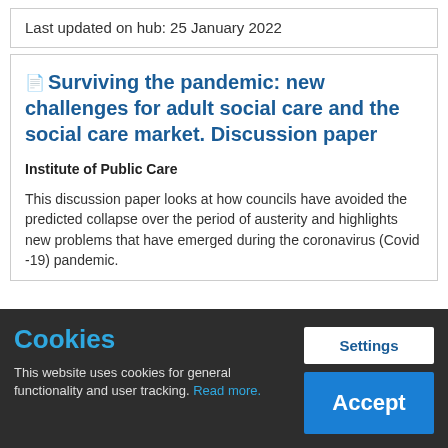Last updated on hub: 25 January 2022
Surviving the pandemic: new challenges for adult social care and the social care market. Discussion paper
Institute of Public Care
This discussion paper looks at how councils have avoided the predicted collapse over the period of austerity and highlights new problems that have emerged during the coronavirus (Covid -19) pandemic.
Cookies
This website uses cookies for general functionality and user tracking. Read more.